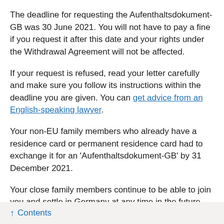The deadline for requesting the Aufenthaltsdokument-GB was 30 June 2021. You will not have to pay a fine if you request it after this date and your rights under the Withdrawal Agreement will not be affected.
If your request is refused, read your letter carefully and make sure you follow its instructions within the deadline you are given. You can get advice from an English-speaking lawyer.
Your non-EU family members who already have a residence card or permanent residence card had to exchange it for an 'Aufenthaltsdokument-GB' by 31 December 2021.
Your close family members continue to be able to join you and settle in Germany at any time in the future. Read more information on who this includes in the Living in Europe guidance.
They must travel to Germany and then request a residence document as your family member within 3 months of arrival. Nationals of certain non-EU countries need a visa before...
↑ Contents